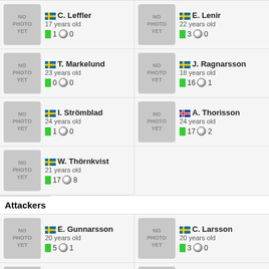C. Leffler, 17 years old, card 1, ball 0
E. Lenir, 22 years old, card 3, ball 0
T. Markelund, 23 years old, card 0, ball 0
J. Ragnarsson, 18 years old, card 16, ball 1
I. Strömblad, 24 years old, card 1, ball 0
A. Thorisson, 24 years old, card 17, ball 2
W. Thörnkvist, 21 years old, card 17, ball 8
Attackers
E. Gunnarsson, 20 years old, card 5, ball 1
C. Larsson, 20 years old, card 3, ball 0
H. Persson, 26 years old, card 18, ball 6
M. Poli, 28 years old, card 2, ball 0
J. Renmark, 18 years old, card 18, ball 6
T. Ries, 23 years old, card 12, ball 2
N. Robertson, 26 years old